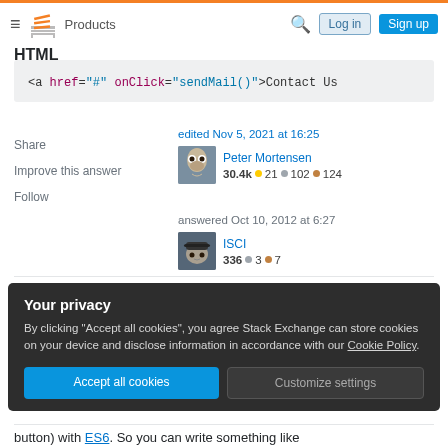≡  [Stack Overflow logo]  Products  🔍  Log in  Sign up
HTML
<a href="#" onClick="sendMail()">Contact Us
Share
Improve this answer
Follow
edited Nov 5, 2021 at 16:25
Peter Mortensen
30.4k ● 21 ● 102 ● 124
answered Oct 10, 2012 at 6:27
ISCI
336 ● 3 ● 7
Your privacy
By clicking "Accept all cookies", you agree Stack Exchange can store cookies on your device and disclose information in accordance with our Cookie Policy.
Accept all cookies  Customize settings
button) with ES6. So you can write something like